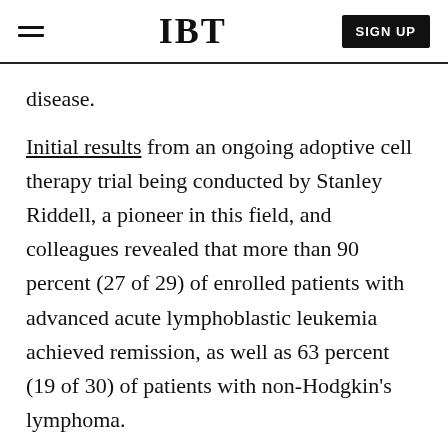IBT | SIGN UP
disease.
Initial results from an ongoing adoptive cell therapy trial being conducted by Stanley Riddell, a pioneer in this field, and colleagues revealed that more than 90 percent (27 of 29) of enrolled patients with advanced acute lymphoblastic leukemia achieved remission, as well as 63 percent (19 of 30) of patients with non-Hodgkin's lymphoma.